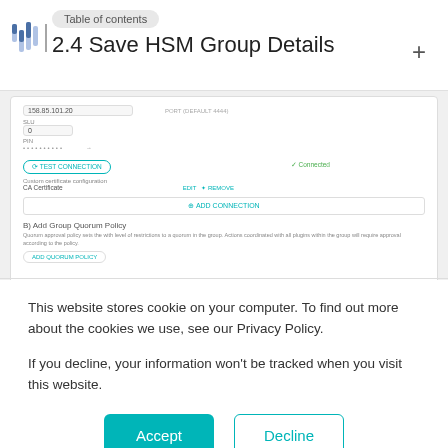Table of contents
2.4 Save HSM Group Details
[Figure (screenshot): Screenshot of HSM Group Details configuration UI showing IP address 158.85.101.20, port, SLU field with value 0, PIN field (masked), Test Connection button with Connected status, Custom certificate configuration with CA Certificate, and Add Connection button. Below that, an Add Group Quorum Policy section with description and Add Quorum Policy button.]
This website stores cookie on your computer. To find out more about the cookies we use, see our Privacy Policy.
If you decline, your information won't be tracked when you visit this website.
Accept
Decline